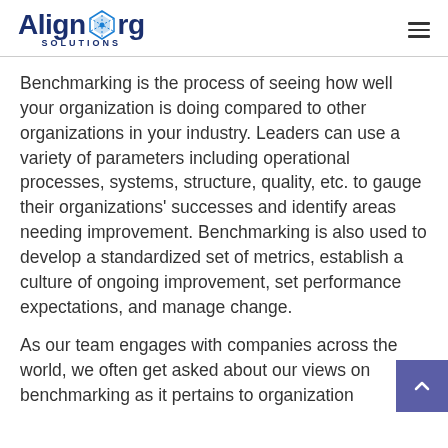AlignOrg Solutions
Benchmarking is the process of seeing how well your organization is doing compared to other organizations in your industry. Leaders can use a variety of parameters including operational processes, systems, structure, quality, etc. to gauge their organizations' successes and identify areas needing improvement. Benchmarking is also used to develop a standardized set of metrics, establish a culture of ongoing improvement, set performance expectations, and manage change.
As our team engages with companies across the world, we often get asked about our views on benchmarking as it pertains to organization